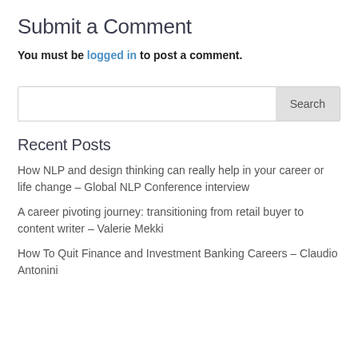Submit a Comment
You must be logged in to post a comment.
Search
Recent Posts
How NLP and design thinking can really help in your career or life change – Global NLP Conference interview
A career pivoting journey: transitioning from retail buyer to content writer – Valerie Mekki
How To Quit Finance and Investment Banking Careers – Claudio Antonini